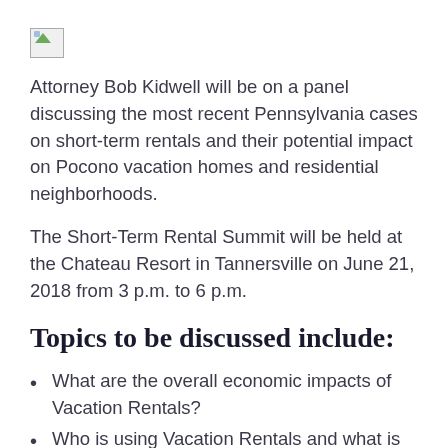[Figure (other): Broken image placeholder icon]
Attorney Bob Kidwell will be on a panel discussing the most recent Pennsylvania cases on short-term rentals and their potential impact on Pocono vacation homes and residential neighborhoods.
The Short-Term Rental Summit will be held at the Chateau Resort in Tannersville on June 21, 2018 from 3 p.m. to 6 p.m.
Topics to be discussed include:
What are the overall economic impacts of Vacation Rentals?
Who is using Vacation Rentals and what is changing?
Why do many restrictions fail, and what